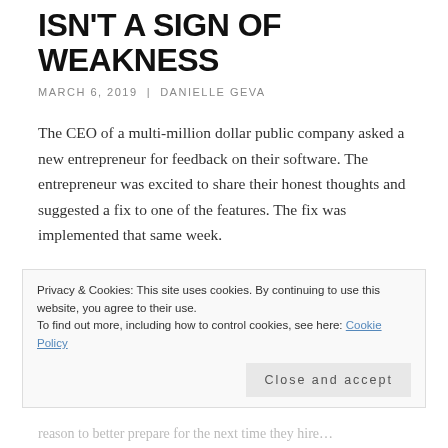ISN'T A SIGN OF WEAKNESS
MARCH 6, 2019  |  DANIELLE GEVA
The CEO of a multi-million dollar public company asked a new entrepreneur for feedback on their software. The entrepreneur was excited to share their honest thoughts and suggested a fix to one of the features. The fix was implemented that same week.
Meanwhile, a smaller competitor was hiring employees in an attempt to expand. They reached out to candidates with the promise of a leadership role with the company…
Privacy & Cookies: This site uses cookies. By continuing to use this website, you agree to their use.
To find out more, including how to control cookies, see here: Cookie Policy
Close and accept
…reason to better prepare for the next time…